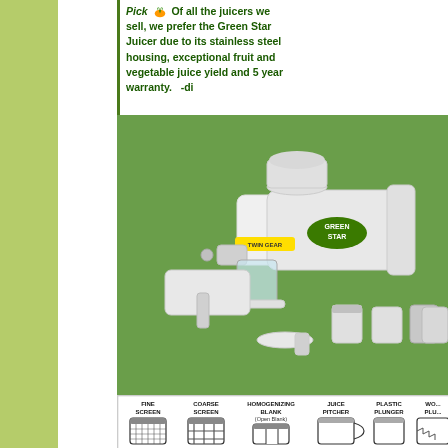Pick Of all the juicers we sell, we prefer the Green Star Juicer due to its stainless steel housing, exceptional fruit and vegetable juice yield and 5 year warranty. -di...
[Figure (photo): Green Star Twin Gear juicer machine with accessories including fine screen, coarse screen, homogenizing blank, juice pitcher, plastic plunger, and other attachments, displayed on a green background]
[Figure (illustration): Diagram strip showing labeled juicer accessories: Fine Screen, Coarse Screen, Homogenizing Blank (Open Blank), Juice Pitcher, Plastic Plunger, Wooden Plunger, with illustrations of each component]